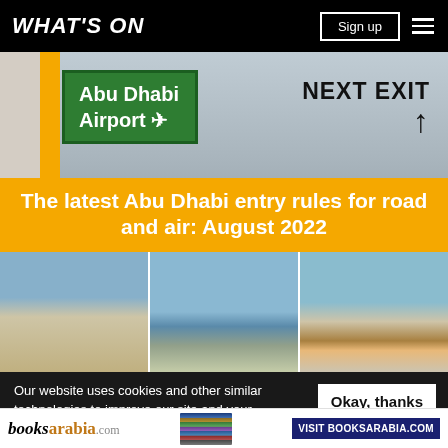WHAT'S ON
[Figure (photo): Abu Dhabi Airport road sign with green background and airplane symbol, and a 'NEXT EXIT' sign on a highway]
The latest Abu Dhabi entry rules for road and air: August 2022
[Figure (photo): Three side-by-side photos of Abu Dhabi buildings and skyline with blue sky]
Our website uses cookies and other similar technologies to improve our site and your online experience. By continuing to use our website you consent to our privacy
[Figure (advertisement): booksarabia.com advertisement banner with book stack image and 'VISIT BOOKSARABIA.COM' button]